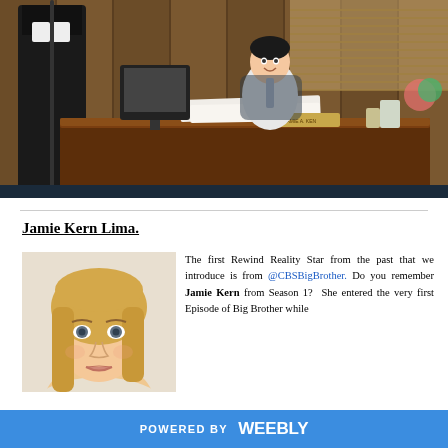[Figure (photo): A man in a white dress shirt and tie sits behind a large wooden desk in a wood-paneled office. A black judge's robe hangs on a stand to the left. The desk has papers, a nameplate, and office supplies. A computer monitor is visible in the background.]
Jamie Kern Lima.
[Figure (photo): Headshot of a blonde woman with light eyes looking slightly upward, wearing light makeup.]
The first Rewind Reality Star from the past that we introduce is from @CBSBigBrother. Do you remember Jamie Kern from Season 1? She entered the very first Episode of Big Brother while
POWERED BY weebly